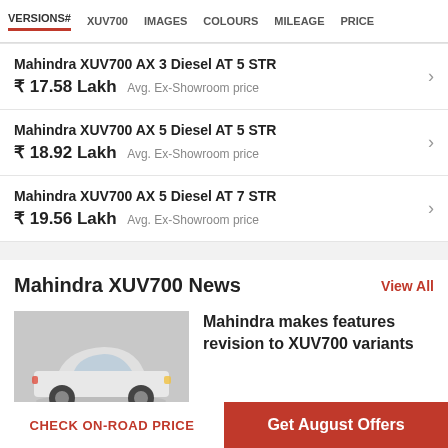VERSIONS# | XUV700 | IMAGES | COLOURS | MILEAGE | PRICE
Mahindra XUV700 AX 3 Diesel AT 5 STR
₹ 17.58 Lakh  Avg. Ex-Showroom price
Mahindra XUV700 AX 5 Diesel AT 5 STR
₹ 18.92 Lakh  Avg. Ex-Showroom price
Mahindra XUV700 AX 5 Diesel AT 7 STR
₹ 19.56 Lakh  Avg. Ex-Showroom price
Mahindra XUV700 News
View All
[Figure (photo): Image of Mahindra XUV700 car, light grey background]
Mahindra makes features revision to XUV700 variants
CHECK ON-ROAD PRICE
Get August Offers